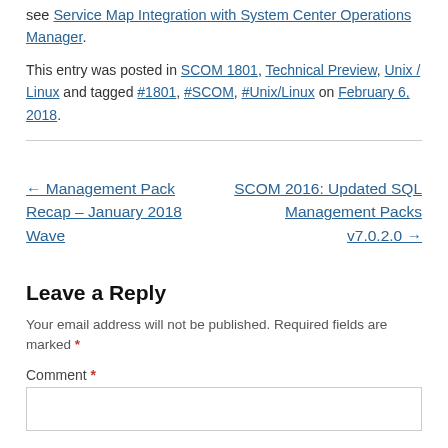see Service Map Integration with System Center Operations Manager.
This entry was posted in SCOM 1801, Technical Preview, Unix / Linux and tagged #1801, #SCOM, #Unix/Linux on February 6, 2018.
← Management Pack Recap – January 2018 Wave
SCOM 2016: Updated SQL Management Packs v7.0.2.0 →
Leave a Reply
Your email address will not be published. Required fields are marked *
Comment *